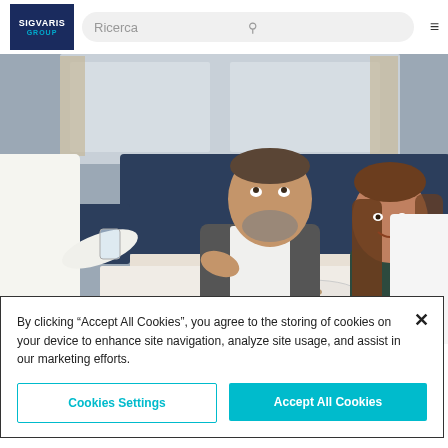SIGVARIS GROUP — Ricerca (search bar) with search icon and menu icon
[Figure (photo): Restaurant dining scene: a waiter in white jacket pours water for a well-dressed couple seated at a white-tablecloth table in a blue-upholstered booth. A middle-aged bearded man in grey suit looks up; a woman with long brown hair in dark green top smiles. Wine glasses and dinnerware on table. Restaurant background with curtained windows.]
By clicking “Accept All Cookies”, you agree to the storing of cookies on your device to enhance site navigation, analyze site usage, and assist in our marketing efforts.
Cookies Settings
Accept All Cookies